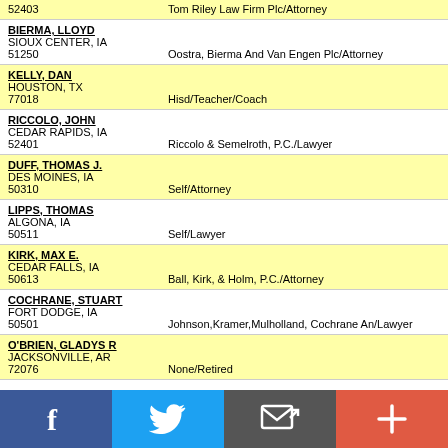52403 | Tom Riley Law Firm Plc/Attorney
BIERMA, LLOYD | SIOUX CENTER, IA | 51250 | Oostra, Bierma And Van Engen Plc/Attorney
KELLY, DAN | HOUSTON, TX | 77018 | Hisd/Teacher/Coach
RICCOLO, JOHN | CEDAR RAPIDS, IA | 52401 | Riccolo & Semelroth, P.C./Lawyer
DUFF, THOMAS J. | DES MOINES, IA | 50310 | Self/Attorney
LIPPS, THOMAS | ALGONA, IA | 50511 | Self/Lawyer
KIRK, MAX E. | CEDAR FALLS, IA | 50613 | Ball, Kirk, & Holm, P.C./Attorney
COCHRANE, STUART | FORT DODGE, IA | 50501 | Johnson,Kramer,Mulholland, Cochrane An/Lawyer
O'BRIEN, GLADYS R | JACKSONVILLE, AR | 72076 | None/Retired